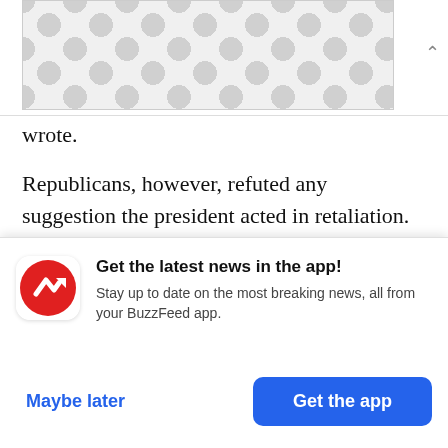[Figure (other): Advertisement banner with gray dot/circle pattern background]
wrote.
Republicans, however, refuted any suggestion the president acted in retaliation. At least one Republican likened the president’s governing style to his approach to business.
“The style of how he does things, you know, he’s different in that sense,” said Sen. Mike Braun. “I li
Get the latest news in the app!
Stay up to date on the most breaking news, all from your BuzzFeed app.
Maybe later    Get the app